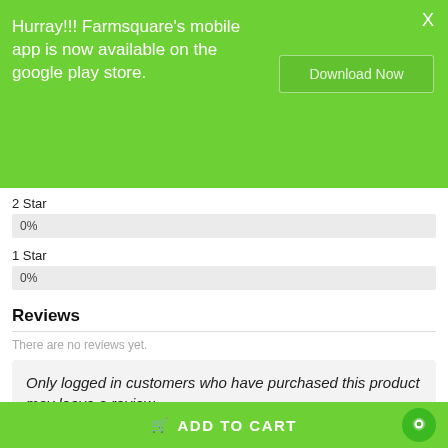Hurray!!! Farmsquare's mobile app is now available on the google play store.
Download Now
2 Star
0%
1 Star
0%
Reviews
There are no reviews yet.
Only logged in customers who have purchased this product may leave a review.
ADD TO CART